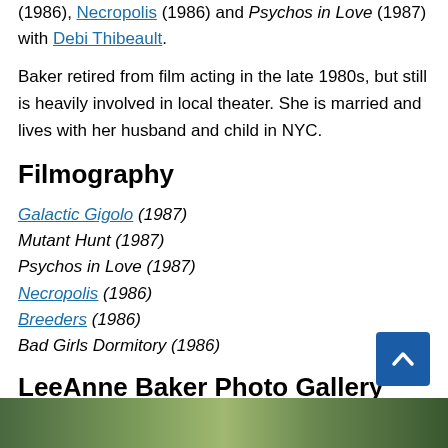(1986), Necropolis (1986) and Psychos in Love (1987) with Debi Thibeault.
Baker retired from film acting in the late 1980s, but still is heavily involved in local theater. She is married and lives with her husband and child in NYC.
Filmography
Galactic Gigolo (1987)
Mutant Hunt (1987)
Psychos in Love (1987)
Necropolis (1986)
Breeders (1986)
Bad Girls Dormitory (1986)
LeeAnne Baker Photo Gallery
[Figure (photo): Photo strip at the bottom of the page showing partial images]